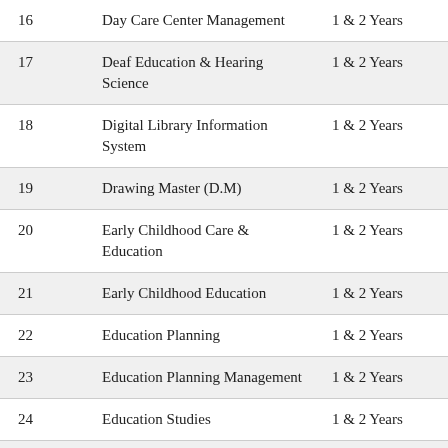| 16 | Day Care Center Management | 1 & 2 Years |
| 17 | Deaf Education & Hearing Science | 1 & 2 Years |
| 18 | Digital Library Information System | 1 & 2 Years |
| 19 | Drawing Master (D.M) | 1 & 2 Years |
| 20 | Early Childhood Care & Education | 1 & 2 Years |
| 21 | Early Childhood Education | 1 & 2 Years |
| 22 | Education Planning | 1 & 2 Years |
| 23 | Education Planning Management | 1 & 2 Years |
| 24 | Education Studies | 1 & 2 Years |
| 25 | Educational Marketing & | 1 & 2 Years |